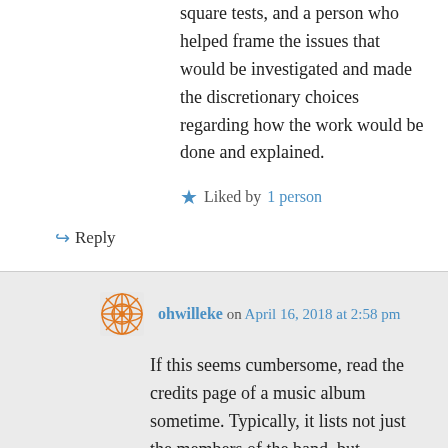square tests, and a person who helped frame the issues that would be investigated and made the discretionary choices regarding how the work would be done and explained.
★ Liked by 1 person
↪ Reply
ohwilleke on April 16, 2018 at 2:58 pm
If this seems cumbersome, read the credits page of a music album sometime. Typically, it lists not just the members of the band, but assigns credits for music composition, lyric writing and sometimes playing specific instruments on a song by song basis. Similarly, movie credits often identify which